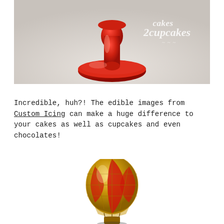[Figure (photo): Close-up photo of a red ceramic cake stand base on a light gray background, with a 'cakes2cupcakes' watermark logo in white script text in the upper right corner.]
Incredible, huh?! The edible images from Custom Icing can make a huge difference to your cakes as well as cupcakes and even chocolates!
[Figure (photo): Photo of a decorative miniature hot air balloon ornament with red and gold diamond lattice pattern, with a small basket below it, on a white background.]